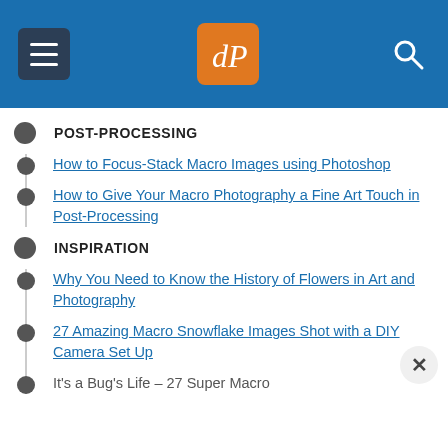[Figure (screenshot): Website navigation header with hamburger menu, dPS logo in orange box, and search icon on blue background]
POST-PROCESSING
How to Focus-Stack Macro Images using Photoshop
How to Give Your Macro Photography a Fine Art Touch in Post-Processing
INSPIRATION
Why You Need to Know the History of Flowers in Art and Photography
27 Amazing Macro Snowflake Images Shot with a DIY Camera Set Up
It's a Bug's Life – 27 Super Macro